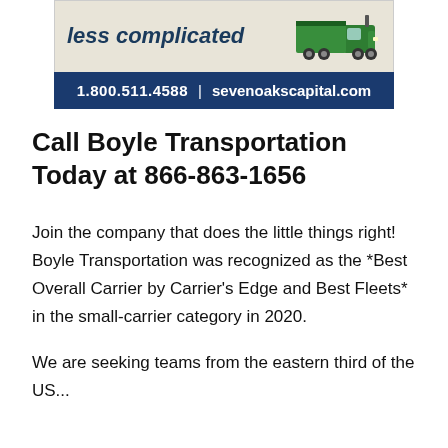[Figure (illustration): Advertisement banner for Seven Oaks Capital showing italic bold text 'less complicated' and a green semi-truck illustration on a beige background, with a dark blue bar below showing '1.800.511.4588 | sevenoakscapital.com']
Call Boyle Transportation Today at 866-863-1656
Join the company that does the little things right! Boyle Transportation was recognized as the *Best Overall Carrier by Carrier's Edge and Best Fleets* in the small-carrier category in 2020.
We are seeking teams from the eastern third of the US...